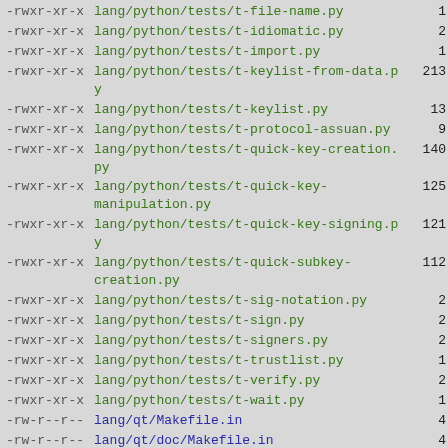-rwxr-xr-x  lang/python/tests/t-file-name.py  1
-rwxr-xr-x  lang/python/tests/t-idiomatic.py  2
-rwxr-xr-x  lang/python/tests/t-import.py  1
-rwxr-xr-x  lang/python/tests/t-keylist-from-data.py  213
-rwxr-xr-x  lang/python/tests/t-keylist.py  13
-rwxr-xr-x  lang/python/tests/t-protocol-assuan.py  9
-rwxr-xr-x  lang/python/tests/t-quick-key-creation.py  140
-rwxr-xr-x  lang/python/tests/t-quick-key-manipulation.py  125
-rwxr-xr-x  lang/python/tests/t-quick-key-signing.py  121
-rwxr-xr-x  lang/python/tests/t-quick-subkey-creation.py  112
-rwxr-xr-x  lang/python/tests/t-sig-notation.py  2
-rwxr-xr-x  lang/python/tests/t-sign.py  2
-rwxr-xr-x  lang/python/tests/t-signers.py  2
-rwxr-xr-x  lang/python/tests/t-trustlist.py  1
-rwxr-xr-x  lang/python/tests/t-verify.py  2
-rwxr-xr-x  lang/python/tests/t-wait.py  1
-rw-r--r--  lang/qt/Makefile.in  4
-rw-r--r--  lang/qt/doc/Makefile.in  4
-rw-r--r--  lang/qt/src/Makefile.am  9
-rw-r--r--  lang/qt/src/Makefile.in  13
-rw-r--r--  lang/qt/src/QGpgmeConfig.cmake.in.in  2
-rw-r--r--  lang/qt/src/cryptoconfg.cpp  44